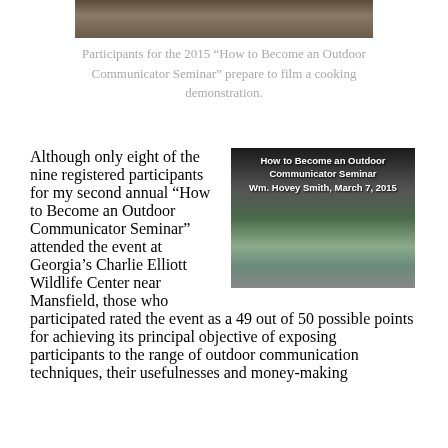[Figure (photo): Top portion of a photo showing outdoor scene, partially cropped]
Participants for the 2015 “How to Become an Outdoor Communicator Seminar” prepare to film a cooking demonstration.
Although only eight of the nine registered participants for my second annual “How to Become an Outdoor Communicator Seminar” attended the event at Georgia’s Charlie Elliott Wildlife Center near Mansfield, those who participated rated the event as a 49 out of 50 possible points for achieving its principal objective of exposing participants to the range of outdoor communication techniques, their usefulness and money-making
[Figure (photo): Thumbnail image of a building with text overlay reading 'How to Become an Outdoor Communicator Seminar, Wm. Hovey Smith, March 7, 2015']